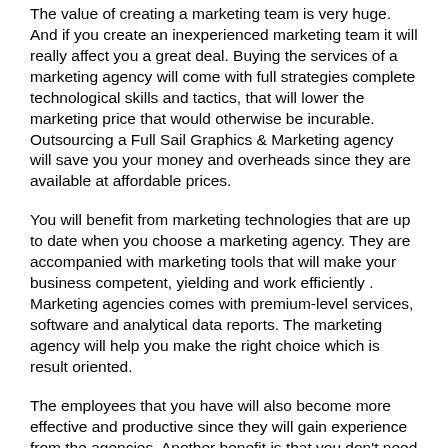The value of creating a marketing team is very huge. And if you create an inexperienced marketing team it will really affect you a great deal. Buying the services of a marketing agency will come with full strategies complete technological skills and tactics, that will lower the marketing price that would otherwise be incurable. Outsourcing a Full Sail Graphics & Marketing agency will save you your money and overheads since they are available at affordable prices.
You will benefit from marketing technologies that are up to date when you choose a marketing agency. They are accompanied with marketing tools that will make your business competent, yielding and work efficiently . Marketing agencies comes with premium-level services, software and analytical data reports. The marketing agency will help you make the right choice which is result oriented.
The employees that you have will also become more effective and productive since they will gain experience from the agencies. Another benefit is that you don't need to train the marketing agencies. It is the marketing agency's duty to perform, make sales yielding, increase customers , provide the needed technology, form market strategies and research. Your workers need not be trained since marketing agencies have what is needed.
Marketing agencies keeps you up to date with more info, the latest Full Sail Graphics & Marketing trends, and new graphic design in vehicle wrap templates. They will provide you with